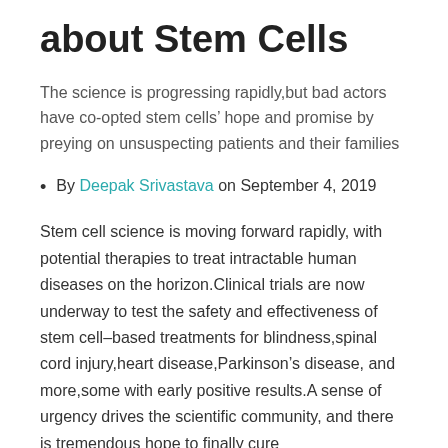about Stem Cells
The science is progressing rapidly,but bad actors have co-opted stem cells’ hope and promise by preying on unsuspecting patients and their families
By Deepak Srivastava on September 4, 2019
Stem cell science is moving forward rapidly, with potential therapies to treat intractable human diseases on the horizon.Clinical trials are now underway to test the safety and effectiveness of stem cell–based treatments for blindness,spinal cord injury,heart disease,Parkinson’s disease, and more,some with early positive results.A sense of urgency drives the scientific community, and there is tremendous hope to finally cure